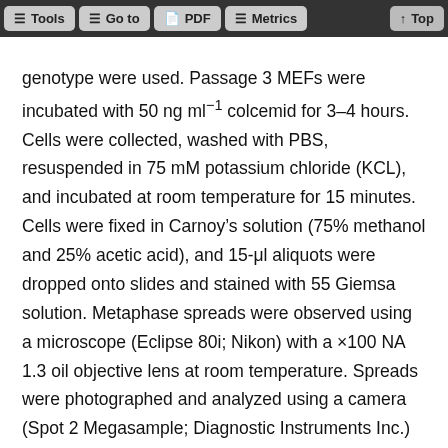Tools | Go to | PDF | Metrics | Top
genotype were used. Passage 3 MEFs were incubated with 50 ng ml⁻¹ colcemid for 3–4 hours. Cells were collected, washed with PBS, resuspended in 75 mM potassium chloride (KCL), and incubated at room temperature for 15 minutes. Cells were fixed in Carnoy’s solution (75% methanol and 25% acetic acid), and 15-μl aliquots were dropped onto slides and stained with 55 Giemsa solution. Metaphase spreads were observed using a microscope (Eclipse 80i; Nikon) with a ×100 NA 1.3 oil objective lens at room temperature. Spreads were photographed and analyzed using a camera (Spot 2 Megasample; Diagnostic Instruments Inc.) and Spot software 4.6 (Diagnostic Instruments Inc.).
For the IR-treated group, MEFs were irradiated (1